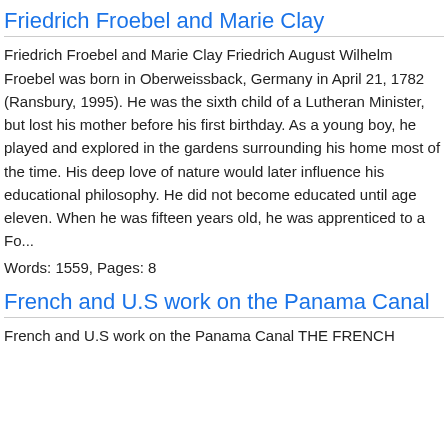Friedrich Froebel and Marie Clay
Friedrich Froebel and Marie Clay Friedrich August Wilhelm Froebel was born in Oberweissback, Germany in April 21, 1782 (Ransbury, 1995). He was the sixth child of a Lutheran Minister, but lost his mother before his first birthday. As a young boy, he played and explored in the gardens surrounding his home most of the time. His deep love of nature would later influence his educational philosophy. He did not become educated until age eleven. When he was fifteen years old, he was apprenticed to a Fo...
Words: 1559, Pages: 8
French and U.S work on the Panama Canal
French and U.S work on the Panama Canal THE FRENCH